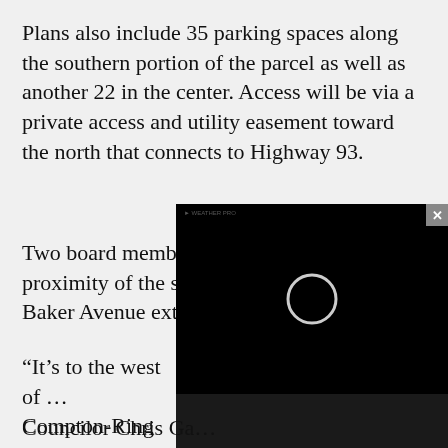Plans also include 35 parking spaces along the southern portion of the parcel as well as another 22 in the center. Access will be via a private access and utility easement toward the north that connects to Highway 93.
Two board members asked about the proximity of the storage units to the proposed Baker Avenue extension.
“It’s to the west of… Compton-Ring rep… the west of it.”
[Figure (other): Black video player overlay with a loading circle spinner in the center and a small label at the top left. A close (x) button is in the top right corner.]
Councilor Chris Ga…